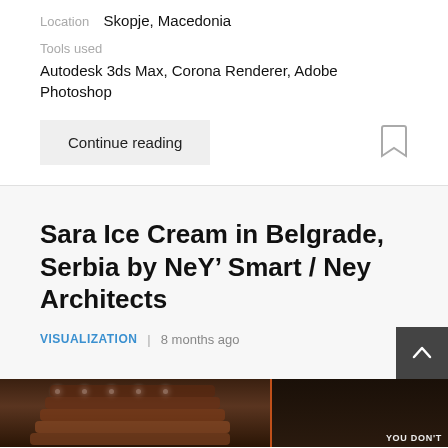Location   Skopje, Macedonia
Tools used
Autodesk 3ds Max, Corona Renderer, Adobe Photoshop
Continue reading
Sara Ice Cream in Belgrade, Serbia by NeY’ Smart / Ney Architects
VISUALIZATION | 8 months ago
[Figure (photo): Dark interior photo of Sara Ice Cream shop in Belgrade, Serbia, showing illuminated wall with stacked bags and orange-lit display. Partially visible text reads YOU DON'T.]